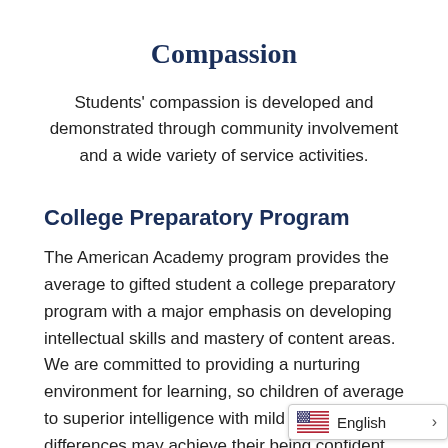Compassion
Students' compassion is developed and demonstrated through community involvement and a wide variety of service activities.
College Preparatory Program
The American Academy program provides the average to gifted student a college preparatory program with a major emphasis on developing intellectual skills and mastery of content areas. We are committed to providing a nurturing environment for learning, so children of average to superior intelligence with mild learning differences may achieve their being confident, creative, and contribu…